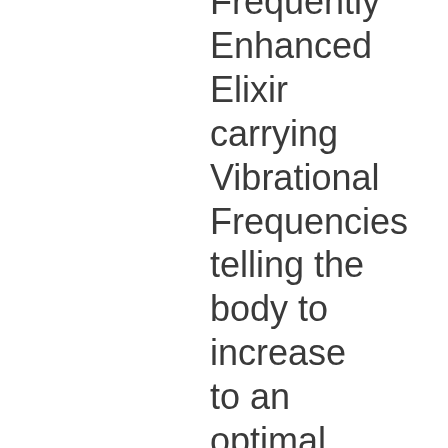Frequently Enhanced Elixir carrying Vibrational Frequencies telling the body to increase to an optimal level Production of